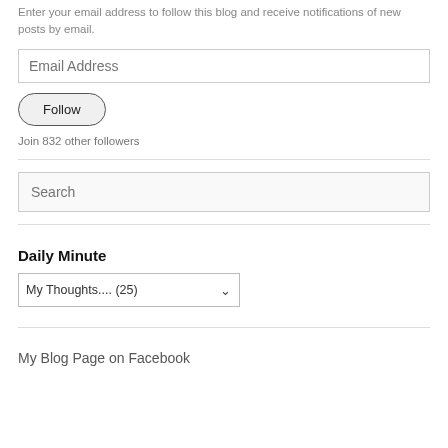Enter your email address to follow this blog and receive notifications of new posts by email.
[Figure (other): Email Address input field]
[Figure (other): Follow button (pill-shaped)]
Join 832 other followers
[Figure (other): Horizontal divider line]
[Figure (other): Search input field]
[Figure (other): Horizontal divider line]
Daily Minute
[Figure (other): Dropdown selector showing 'My Thoughts.... (25)']
[Figure (other): Horizontal divider line]
My Blog Page on Facebook